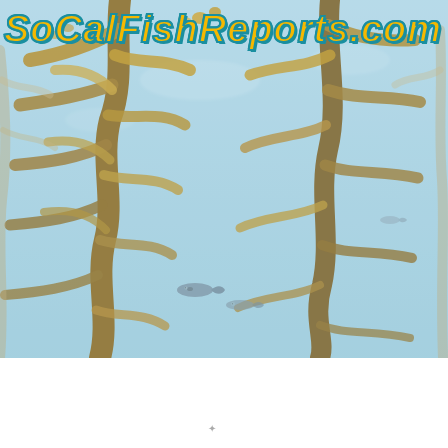[Figure (photo): Underwater kelp forest scene with brown/amber kelp fronds and small fish visible against a light blue-green water background]
SoCalFishReports.com